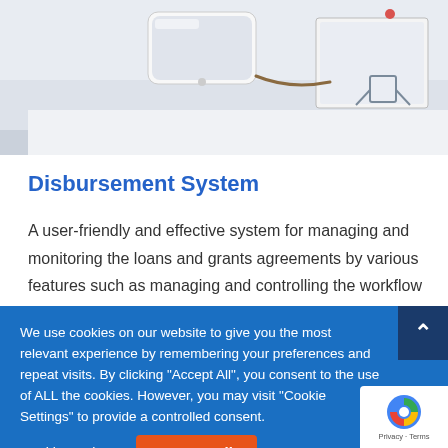[Figure (photo): Photo of a smartphone/tablet on a desk surface with light gray background, with a cable visible and what appears to be a chair in the background]
Disbursement System
A user-friendly and effective system for managing and monitoring the loans and grants agreements by various features such as managing and controlling the workflow for the entered data etc... The system also provides synergy between a wide range of tasks across grants and
We use cookies on our website to give you the most relevant experience by remembering your preferences and repeat visits. By clicking "Accept All", you consent to the use of ALL the cookies. However, you may visit "Cookie Settings" to provide a controlled consent.
Cookie Settings
Accept All